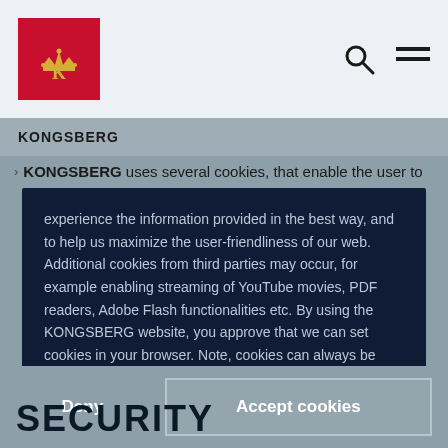[Figure (logo): Kongsberg logo - red square with gold crown and K monogram]
KONGSBERG
KONGSBERG uses several cookies, that enable the user to experience the information provided in the best way, and to help us maximize the user-friendliness of our web. Additional cookies from third parties may occur, for example enabling streaming of YouTube movies, PDF readers, Adobe Flash functionalities etc. By using the KONGSBERG website, you approve that we can set cookies in your browser. Note, cookies can always be deleted and or disabled. Please refer to your browser's help file to determine the browser's settings. Read our cookie policy
Deny
Accept cookies
SECURITY